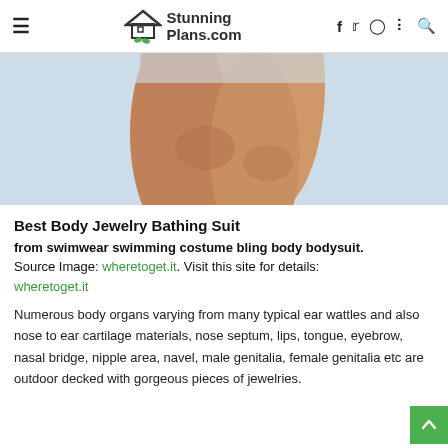StunningPlans.com
[Figure (photo): Close-up photo of a person's legs/knees against a light blue background]
Best Body Jewelry Bathing Suit
from swimwear swimming costume bling body bodysuit. Source Image: wheretoget.it. Visit this site for details: wheretoget.it
Numerous body organs varying from many typical ear wattles and also nose to ear cartilage materials, nose septum, lips, tongue, eyebrow, nasal bridge, nipple area, navel, male genitalia, female genitalia etc are outdoor decked with gorgeous pieces of jewelries.